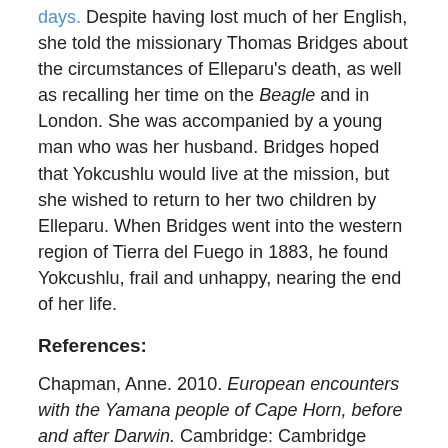days. Despite having lost much of her English, she told the missionary Thomas Bridges about the circumstances of Elleparu's death, as well as recalling her time on the Beagle and in London. She was accompanied by a young man who was her husband. Bridges hoped that Yokcushlu would live at the mission, but she wished to return to her two children by Elleparu. When Bridges went into the western region of Tierra del Fuego in 1883, he found Yokcushlu, frail and unhappy, nearing the end of her life.
References:
Chapman, Anne. 2010. European encounters with the Yamana people of Cape Horn, before and after Darwin. Cambridge: Cambridge University Press.
Hazlewood, Nick. 2000. Savage. The life and times of Jemmy Button. London: Hodder and Stoughton.
Darwin, C. R. 1845. Journal of researches into the